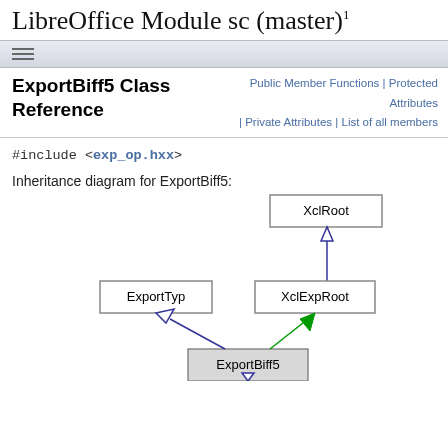LibreOffice Module sc (master) 1
ExportBiff5 Class Reference
Public Member Functions | Protected Attributes | Private Attributes | List of all members
Inheritance diagram for ExportBiff5:
[Figure (other): Inheritance diagram showing ExportBiff5 inheriting from ExportTyp (blue arrow) and XclExpRoot (green arrow), with XclExpRoot inheriting from XclRoot (blue arrow).]